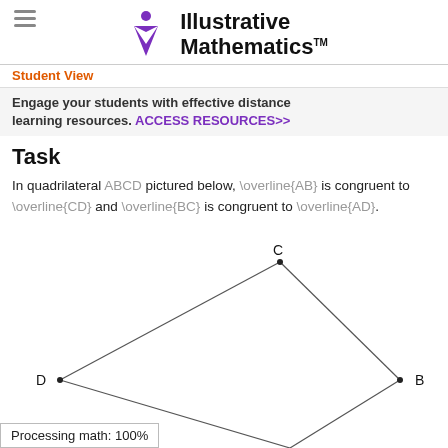Illustrative Mathematics
Student View
Engage your students with effective distance learning resources. ACCESS RESOURCES>>
Task
In quadrilateral ABCD pictured below, \overline{AB} is congruent to \overline{CD} and \overline{BC} is congruent to \overline{AD}.
[Figure (illustration): Quadrilateral ABCD with vertices C at top center, B at right, D at left, and A partially visible at bottom. Lines connect the vertices forming a kite-like shape.]
Processing math: 100%